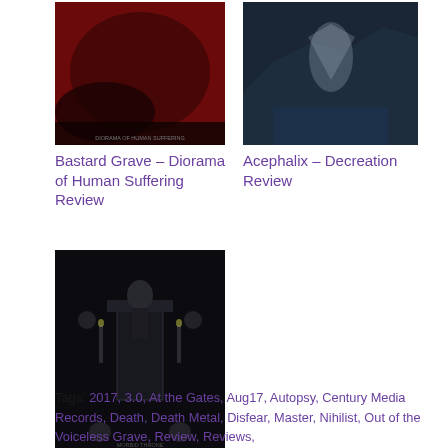[Figure (illustration): Album cover for Bastard Grave – Diorama of Human Suffering, dark red tones with abstract figures]
Bastard Grave – Diorama of Human Suffering Review
[Figure (illustration): Album cover for Acephalix – Decreation Review, dark blue cave/mountain scene with large bird-like figure]
Acephalix – Decreation Review
[Figure (illustration): Album cover for Grave Ritual – Morbid Throne Review, dark black and white illustration of skeletal throne figure with skulls and candles]
Grave Ritual – Morbid Throne Review
Tags: 2017, 3.0, At the Gates, Aug17, Autopsy, Century Media Records, Death, Death Metal, Disfear, Master, Nihilist, Out of the Voiceless Grave, Review, Reviews,